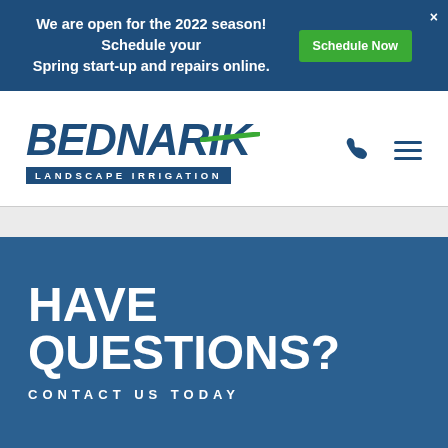We are open for the 2022 season! Schedule your Spring start-up and repairs online.
Schedule Now
[Figure (logo): Bednarik Landscape Irrigation company logo with blue italic bold text and green diagonal slash, with 'LANDSCAPE IRRIGATION' in white text on blue banner below]
HAVE QUESTIONS?
CONTACT US TODAY